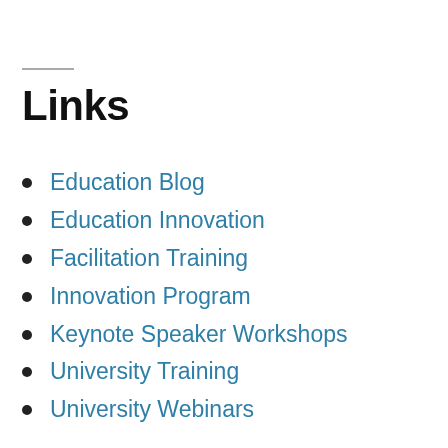Links
Education Blog
Education Innovation
Facilitation Training
Innovation Program
Keynote Speaker Workshops
University Training
University Webinars